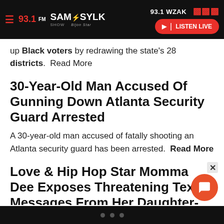93.1 WZAK — Sam Sylk Show header bar with LISTEN LIVE button
up Black voters by redrawing the state's 28 districts. Read More
30-Year-Old Man Accused Of Gunning Down Atlanta Security Guard Arrested
A 30-year-old man accused of fatally shooting an Atlanta security guard has been arrested. Read More
Love & Hip Hop Star Momma Dee Exposes Threatening Text Messages From Her Daughter-In-Law Bambi After She Attended Shay Johnson's Baby Shower
There's Love & Hip Hop drama in the palace again! M…